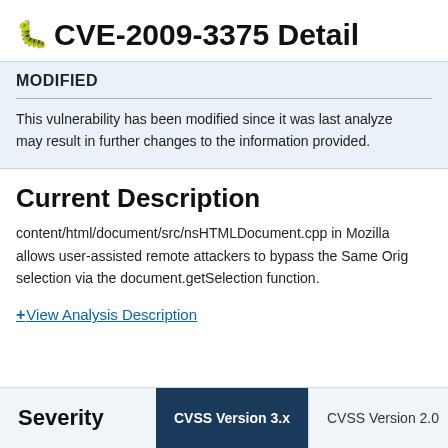CVE-2009-3375 Detail
MODIFIED
This vulnerability has been modified since it was last analyzed and may result in further changes to the information provided.
Current Description
content/html/document/src/nsHTMLDocument.cpp in Mozilla allows user-assisted remote attackers to bypass the Same Origin selection via the document.getSelection function.
+ View Analysis Description
Severity   CVSS Version 3.x   CVSS Version 2.0